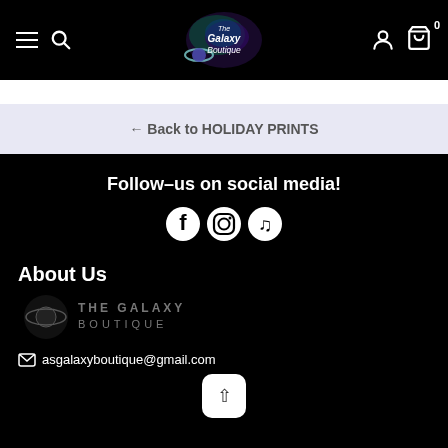[Figure (screenshot): Website header navigation bar with hamburger menu, search icon, The Galaxy Boutique logo in center, user account icon, and shopping cart icon with badge showing 0]
← Back to HOLIDAY PRINTS
Follow-us on social media!
[Figure (illustration): Social media icons: Facebook, Instagram, TikTok]
About Us
[Figure (logo): The Galaxy Boutique dark logo with galaxy/planet graphic and text THE GALAXY BOUTIQUE]
asgalaxyboutique@gmail.com